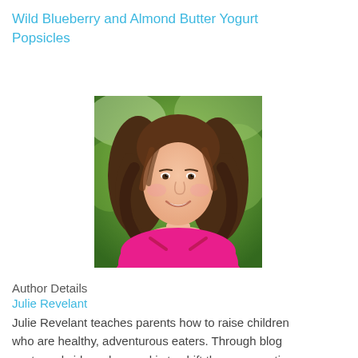Wild Blueberry and Almond Butter Yogurt Popsicles
[Figure (photo): Headshot of a smiling woman with long curly brown hair, wearing a pink top, photographed outdoors against a green background.]
Author Details
Julie Revelant
Julie Revelant teaches parents how to raise children who are healthy, adventurous eaters. Through blog posts and videos, her goal is to shift the conversation from short-term, problem